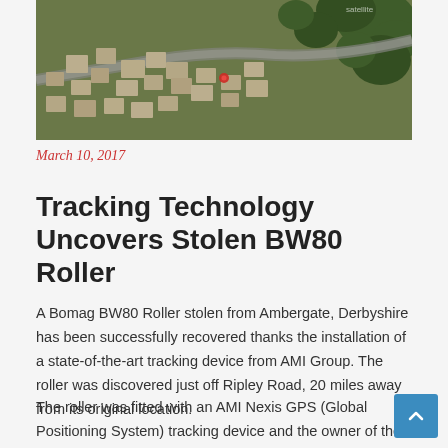[Figure (photo): Aerial satellite view of a residential area with houses and roads, showing rooftops and trees from above]
March 10, 2017
Tracking Technology Uncovers Stolen BW80 Roller
A Bomag BW80 Roller stolen from Ambergate, Derbyshire has been successfully recovered thanks the installation of a state-of-the-art tracking device from AMI Group. The roller was discovered just off Ripley Road, 20 miles away from its original location.
The roller was fitted with an AMI Nexis GPS (Global Positioning System) tracking device and the owner of the roller was able to log on to the AMI Nexis web portal directly